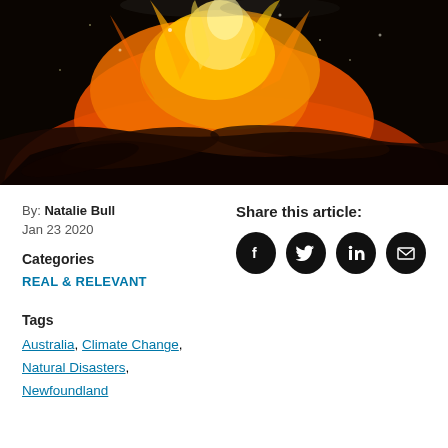[Figure (photo): Close-up photograph of a large fire with burning logs and bright orange and yellow flames against a dark background.]
By: Natalie Bull
Jan 23 2020
Categories
REAL & RELEVANT
Share this article:
[Figure (infographic): Social share icons: Facebook, Twitter, LinkedIn, Email — all black circular buttons]
Tags
Australia, Climate Change, Natural Disasters, Newfoundland